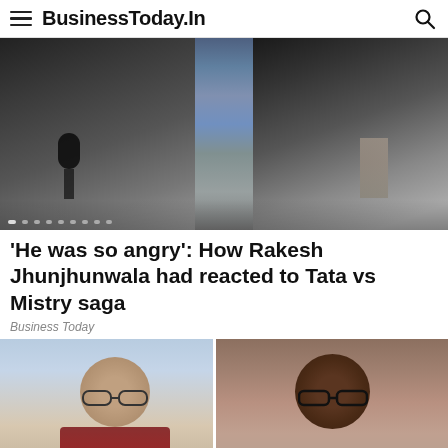BusinessToday.In
[Figure (photo): Hero image showing people at what appears to be a press event or interview, multiple subjects visible]
'He was so angry': How Rakesh Jhunjhunwala had reacted to Tata vs Mistry saga
Business Today
[Figure (photo): Two people side by side — one appears to be a heavy-set man with glasses, the other a man with glasses against a brick background]
Tata Steel shares rise 7% since stock split: How long for Rs 150 mark?